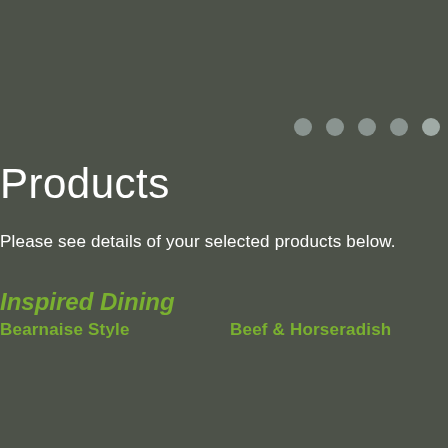[Figure (other): Five circular dots/indicators in a row, used as a navigation or step indicator UI element. Dots are muted gray/teal color.]
Products
Please see details of your selected products below.
Inspired Dining
Bearnaise Style
Beef & Horseradish